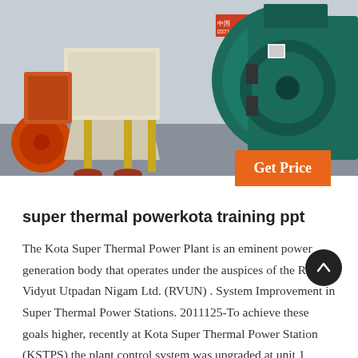[Figure (photo): Industrial machinery in a factory/workshop setting. Left side shows orange/red heavy equipment with vertical yellow poles and circular base components. Right side shows a large teal/dark green industrial fan or blower unit. The scene is indoors on a concrete floor.]
Get Price
super thermal powerkota training ppt
The Kota Super Thermal Power Plant is an eminent power generation body that operates under the auspices of the Rajya Vidyut Utpadan Nigam Ltd. (RVUN) . System Improvement in Super Thermal Power Stations. 2011125-To achieve these goals higher, recently at Kota Super Thermal Power Station (KSTPS) the plant control system was upgraded at unit 1 &amp; 2 f